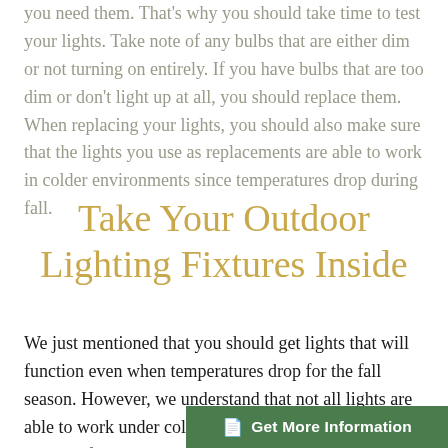you need them. That's why you should take time to test your lights. Take note of any bulbs that are either dim or not turning on entirely. If you have bulbs that are too dim or don't light up at all, you should replace them. When replacing your lights, you should also make sure that the lights you use as replacements are able to work in colder environments since temperatures drop during fall.
Take Your Outdoor Lighting Fixtures Inside
We just mentioned that you should get lights that will function even when temperatures drop for the fall season. However, we understand that not all lights are able to work under colder temperatures. For lights that don't prefer the cold, take them inside until temperatures go back on the rise.
Get More Information